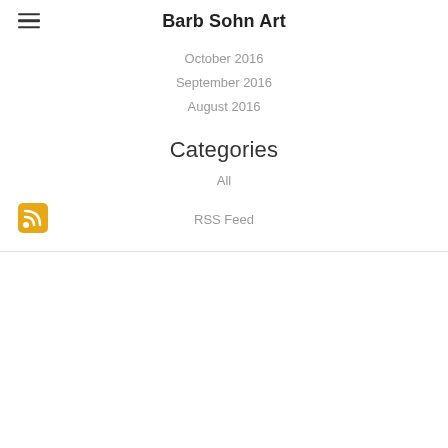Barb Sohn Art
October 2016
September 2016
August 2016
Categories
All
RSS Feed